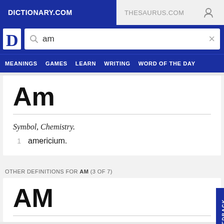DICTIONARY.COM   THESAURUS.COM
[Figure (screenshot): Dictionary.com logo with search bar showing 'am']
MEANINGS   GAMES   LEARN   WRITING   WORD OF THE DAY
Am
Symbol, Chemistry.
1 americium.
OTHER DEFINITIONS FOR AM (3 OF 7)
AM